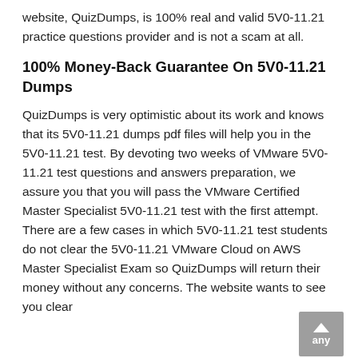website, QuizDumps, is 100% real and valid 5V0-11.21 practice questions provider and is not a scam at all.
100% Money-Back Guarantee On 5V0-11.21 Dumps
QuizDumps is very optimistic about its work and knows that its 5V0-11.21 dumps pdf files will help you in the 5V0-11.21 test. By devoting two weeks of VMware 5V0-11.21 test questions and answers preparation, we assure you that you will pass the VMware Certified Master Specialist 5V0-11.21 test with the first attempt. There are a few cases in which 5V0-11.21 test students do not clear the 5V0-11.21 VMware Cloud on AWS Master Specialist Exam so QuizDumps will return their money without any concerns. The website wants to see you clear